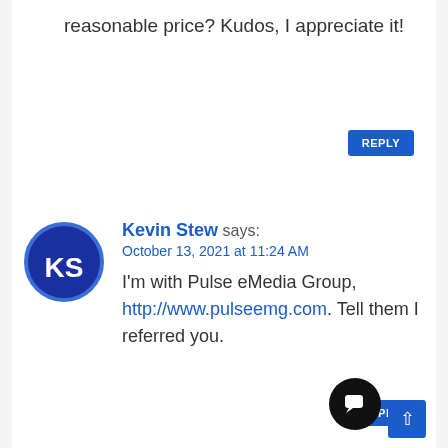reasonable price? Kudos, I appreciate it!
REPLY
[Figure (illustration): User avatar circle with initials KS on dark blue background with blue border]
Kevin Stew says: October 13, 2021 at 11:24 AM
I'm with Pulse eMedia Group, http://www.pulseemg.com. Tell them I referred you.
REPLY